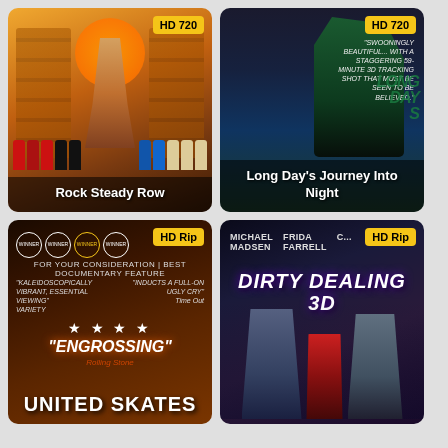[Figure (photo): Movie poster for Rock Steady Row with badge HD 720 and title at bottom]
[Figure (photo): Movie poster for Long Day's Journey Into Night with badge HD 720 and title at bottom]
[Figure (photo): Movie poster for United Skates with badge HD Rip, award laurels, review quotes, and title at bottom]
[Figure (photo): Movie poster for Dirty Dealing 3D with badge HD Rip, cast names Michael Madsen and Frida Farrell, and title in large letters]